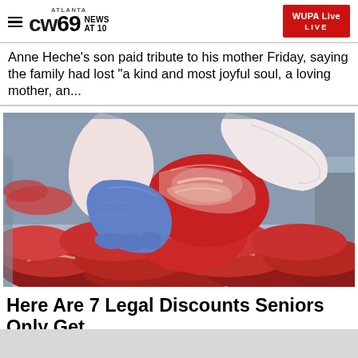ATLANTA CW69 NEWS AT 10 | WUPA Live LIVE
Anne Heche's son paid tribute to his mother Friday, saying the family had lost "a kind and most joyful soul, a loving mother, an...
[Figure (photo): A person wearing blue latex gloves holds up a large cut of raw meat over a display case filled with various cuts of raw red meat.]
Here Are 7 Legal Discounts Seniors Only Get